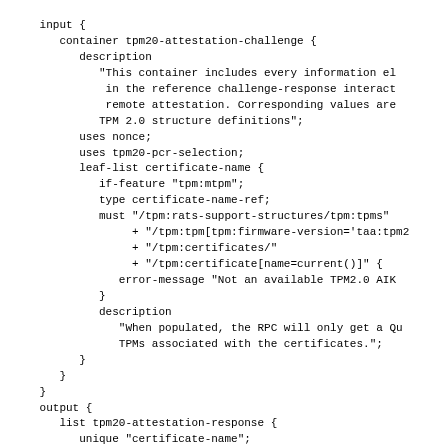input {
   container tpm20-attestation-challenge {
      description
         "This container includes every information el
            in the reference challenge-response interact
            remote attestation. Corresponding values are
         TPM 2.0 structure definitions";
      uses nonce;
      uses tpm20-pcr-selection;
      leaf-list certificate-name {
         if-feature "tpm:mtpm";
         type certificate-name-ref;
         must "/tpm:rats-support-structures/tpm:tpms"
              + "/tpm:tpm[tpm:firmware-version='taa:tpm2
              + "/tpm:certificates/"
              + "/tpm:certificate[name=current()]" {
            error-message "Not an available TPM2.0 AIK
         }
         description
            "When populated, the RPC will only get a Qu
            TPMs associated with the certificates.";
      }
   }
}
output {
   list tpm20-attestation-response {
      unique "certificate-name";
      description